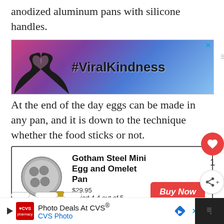anodized aluminum pans with silicone handles.
[Figure (screenshot): Advertisement banner with sunset background, silhouette of hands making heart shape, and text '#ViralKindness']
At the end of the day eggs can be made in any pan, and it is down to the technique whether the food sticks or not.
[Figure (other): Product card for Gotham Steel Mini Egg and Omelet Pan, $29.95, Rated 4.4 out of 5, with Buy Now button]
[Figure (screenshot): CVS Pharmacy advertisement at bottom: Photo Deals At CVS® with CVS Photo text]